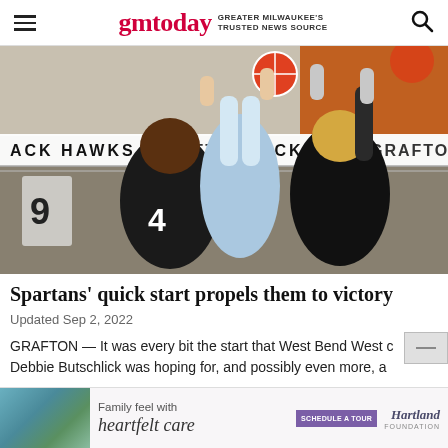gmtoday — GREATER MILWAUKEE'S TRUSTED NEWS SOURCE
[Figure (photo): Volleyball match photo showing players from two teams jumping at the net to block a ball. Net banner visible with text 'ACK HAWKS', 'GRAFTON', 'ACK HAWKS', 'GRAFTON'. Player wearing #4 in black and white uniform, another in light blue uniform, and a player with blonde hair in black uniform.]
Spartans' quick start propels them to victory
Updated Sep 2, 2022
GRAFTON — It was every bit the start that West Bend West c… Debbie Butschlick was hoping for, and possibly even more, a